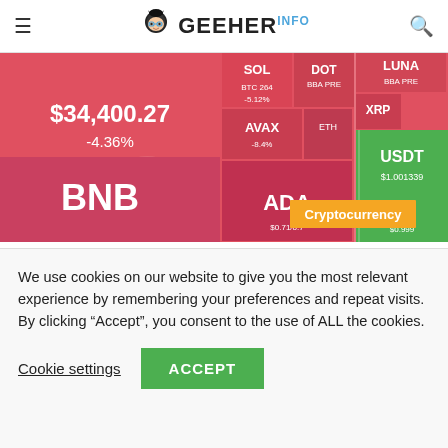GEEHER.INFO
[Figure (screenshot): Cryptocurrency market heatmap showing various coins with price data. Bitcoin shows $34,400.27 at -4.36%. Other coins visible include SOL, DOT, LUNA, XRP, USDT ($1.001339), AVAX, ADA, BNB, UST. Most tiles are red indicating market decline. A Cryptocurrency tag is shown in orange.]
Jake  May 8, 2022
Top 5 cryptocurrencies to watch this week: BTC, ALGO, XMR, XTZ, THETA
The S&P 500 and the Nasdaq have declined for five consecutive weeks,
We use cookies on our website to give you the most relevant experience by remembering your preferences and repeat visits. By clicking “Accept”, you consent to the use of ALL the cookies.
Cookie settings  ACCEPT